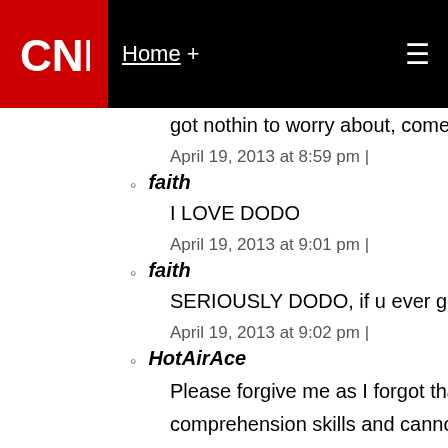CNN | Home +
got nothin to worry about, come to think of it. u h
April 19, 2013 at 8:59 pm |
faith

I LOVE DODO

April 19, 2013 at 9:01 pm |
faith

SERIOUSLY DODO, if u ever get a date, everyone

April 19, 2013 at 9:02 pm |
HotAirAce

Please forgive me as I forgot that not everyone h comprehension skills and cannot understand sub

To be clear, no one has ever proven conclusively a divine jesus existed. Now, go ahead and be the crystal clear clarity, prove conclusively, by prov